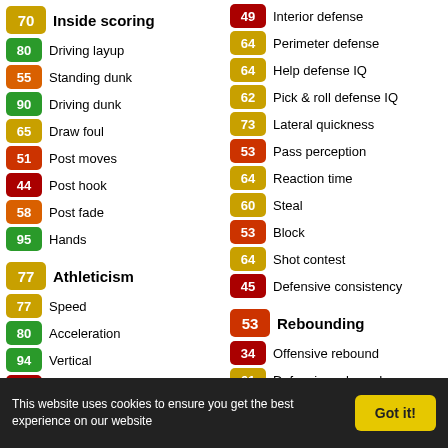70 Inside scoring
80 Driving layup
55 Standing dunk
90 Driving dunk
65 Draw foul
51 Post moves
44 Post hook
58 Post fade
95 Hands
77 Athleticism
77 Speed
80 Acceleration
94 Vertical
44 Strength
85 Stamina
66 Hustle
84 Overall durability
49 Interior defense
64 Perimeter defense
64 Help defense IQ
62 Pick & roll defense IQ
73 Lateral quickness
53 Pass perception
64 Reaction time
60 Steal
53 Block
64 Shot contest
45 Defensive consistency
53 Rebounding
34 Offensive rebound
61 Defensive rebound
This website uses cookies to ensure you get the best experience on our website